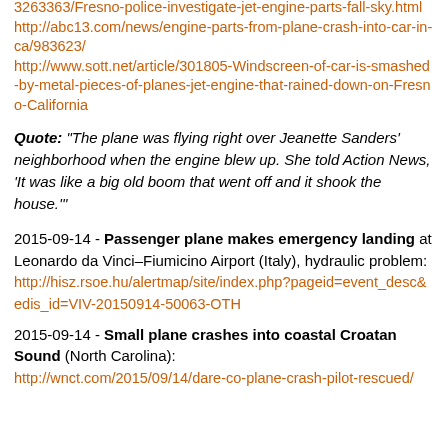http://abc13.com/news/engine-parts-from-plane-crash-into-car-in-ca/983623/
http://www.sott.net/article/301805-Windscreen-of-car-is-smashed-by-metal-pieces-of-planes-jet-engine-that-rained-down-on-Fresno-California
Quote: "The plane was flying right over Jeanette Sanders' neighborhood when the engine blew up. She told Action News, 'It was like a big old boom that went off and it shook the house.'"
2015-09-14 - Passenger plane makes emergency landing at Leonardo da Vinci–Fiumicino Airport (Italy), hydraulic problem:
http://hisz.rsoe.hu/alertmap/site/index.php?pageid=event_desc&edis_id=VIV-20150914-50063-OTH
2015-09-14 - Small plane crashes into coastal Croatan Sound (North Carolina):
http://wnct.com/2015/09/14/dare-co-plane-crash-pilot-rescued/